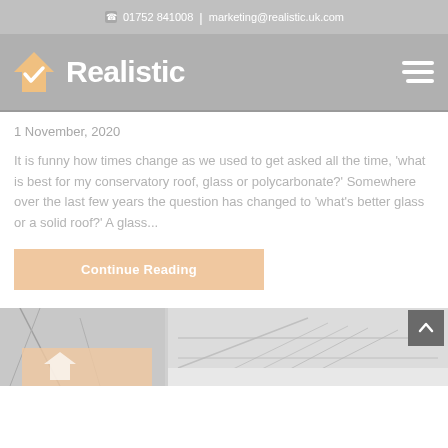📞 01752 841008  |  marketing@realistic.uk.com
[Figure (logo): Realistic company logo with house icon and checkmark, white text on grey background, hamburger menu icon on right]
1 November, 2020
It is funny how times change as we used to get asked all the time, 'what is best for my conservatory roof, glass or polycarbonate?' Somewhere over the last few years the question has changed to 'what's better glass or a solid roof?' A glass...
Continue Reading
[Figure (photo): Partial bottom strip showing conservatory/roof photographs in grey tones with peach/orange overlay patches]